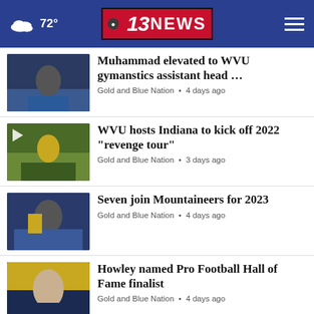72° CBS 13 NEWS
Muhammad elevated to WVU gymanstics assistant head … Gold and Blue Nation • 4 days ago
WVU hosts Indiana to kick off 2022 "revenge tour" Gold and Blue Nation • 3 days ago
Seven join Mountaineers for 2023 Gold and Blue Nation • 4 days ago
Howley named Pro Football Hall of Fame finalist Gold and Blue Nation • 4 days ago
WVU ranked best tailgate school in Big 12 Gold and Blue Nation • 4 days ago
[Figure (photo): Advertisement banner for Eagles Nest Restaurant & Lounge — Breakfast Buffet Saturdays 9:00am-12:00pm]